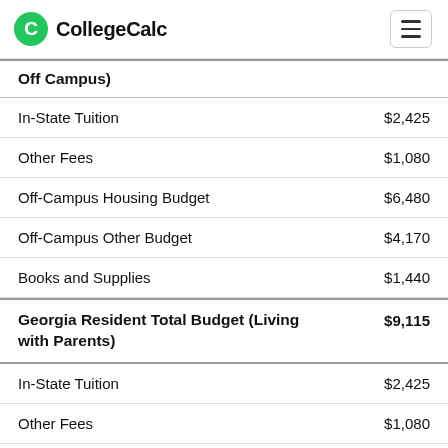CollegeCalc
Off Campus)
| Item | Amount |
| --- | --- |
| In-State Tuition | $2,425 |
| Other Fees | $1,080 |
| Off-Campus Housing Budget | $6,480 |
| Off-Campus Other Budget | $4,170 |
| Books and Supplies | $1,440 |
| Georgia Resident Total Budget (Living with Parents) | $9,115 |
| In-State Tuition | $2,425 |
| Other Fees | $1,080 |
| Family Provided Room and Board | $0 |